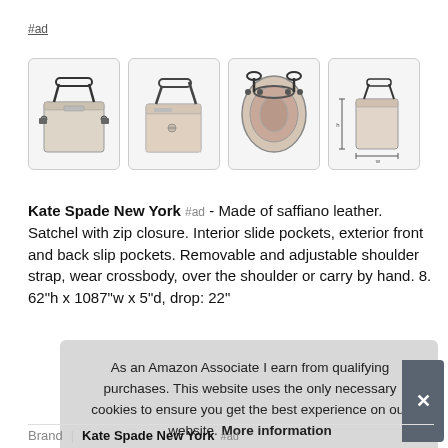#ad
[Figure (photo): Four product images of a Kate Spade New York satchel handbag: front view, angled view, top-open view, and side-with-dimensions view]
Kate Spade New York #ad - Made of saffiano leather. Satchel with zip closure. Interior slide pockets, exterior front and back slip pockets. Removable and adjustable shoulder strap, wear crossbody, over the shoulder or carry by hand. 8. 62"h x 1087"w x 5"d, drop: 22"
As an Amazon Associate I earn from qualifying purchases. This website uses the only necessary cookies to ensure you get the best experience on our website. More information
| Brand | Value |
| --- | --- |
| Brand | Kate Spade New York #ad |